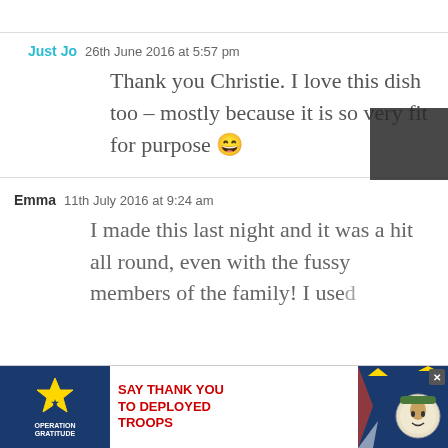Just Jo  26th June 2016 at 5:57 pm
Thank you Christie. I love this dish too – mostly because it is so very fit for purpose 😄
Emma  11th July 2016 at 9:24 am
I made this last night and it was a hit all round, even with the fussy members of the family! I used
[Figure (infographic): Advertisement banner for Operation Gratitude: SAY THANK YOU TO DEPLOYED TROOPS]